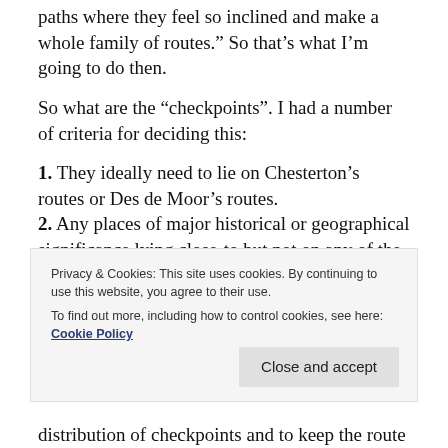paths where they feel so inclined and make a whole family of routes." So that's what I'm going to do then.
So what are the “checkpoints”. I had a number of criteria for deciding this:
1. They ideally need to lie on Chesterton’s routes or Des de Moor’s routes.
2. Any places of major historical or geographical significance lying close-to but not on any of the published routes will also be considered. For this purpose, I’m setting this as no more than a mile off-route and I can’t miss any of the checkpoints on the
Privacy & Cookies: This site uses cookies. By continuing to use this website, you agree to their use.
To find out more, including how to control cookies, see here: Cookie Policy
distribution of checkpoints and to keep the route